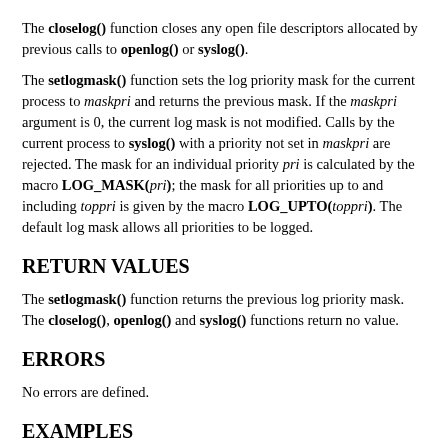The closelog() function closes any open file descriptors allocated by previous calls to openlog() or syslog().
The setlogmask() function sets the log priority mask for the current process to maskpri and returns the previous mask. If the maskpri argument is 0, the current log mask is not modified. Calls by the current process to syslog() with a priority not set in maskpri are rejected. The mask for an individual priority pri is calculated by the macro LOG_MASK(pri); the mask for all priorities up to and including toppri is given by the macro LOG_UPTO(toppri). The default log mask allows all priorities to be logged.
RETURN VALUES
The setlogmask() function returns the previous log priority mask. The closelog(), openlog() and syslog() functions return no value.
ERRORS
No errors are defined.
EXAMPLES